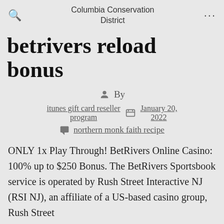Columbia Conservation District
betrivers reload bonus
By
itunes gift card reseller program   January 20, 2022
northern monk faith recipe
ONLY 1x Play Through! BetRivers Online Casino: 100% up to $250 Bonus. The BetRivers Sportsbook service is operated by Rush Street Interactive NJ (RSI NJ), an affiliate of a US-based casino group, Rush Street